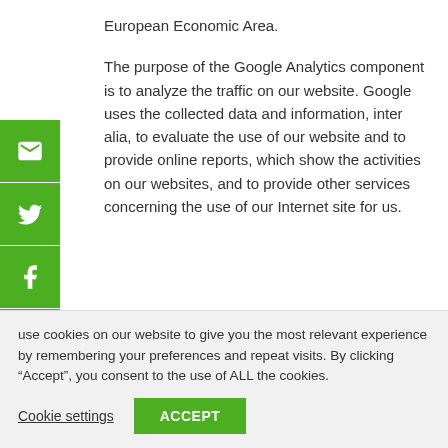European Economic Area.
The purpose of the Google Analytics component is to analyze the traffic on our website. Google uses the collected data and information, inter alia, to evaluate the use of our website and to provide online reports, which show the activities on our websites, and to provide other services concerning the use of our Internet site for us.
use cookies on our website to give you the most relevant experience by remembering your preferences and repeat visits. By clicking “Accept”, you consent to the use of ALL the cookies.
Cookie settings
ACCEPT